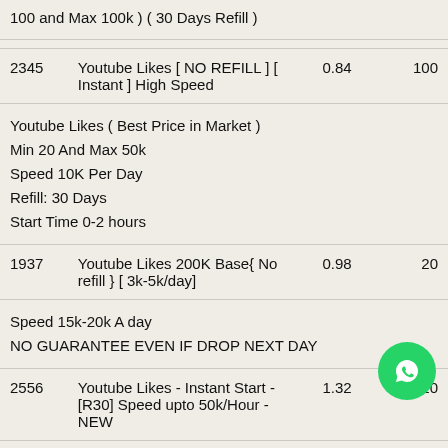100 and Max 100k ) ( 30 Days Refill )
| ID | Description | Price | Min |
| --- | --- | --- | --- |
| 2345 | Youtube Likes [ NO REFILL ] [ Instant ] High Speed | 0.84 | 100 |
|  | Youtube Likes ( Best Price in Market )
Min 20 And Max 50k
Speed 10K Per Day
Refill: 30 Days
Start Time 0-2 hours |  |  |
| 1937 | Youtube Likes 200K Base{ No refill } [ 3k-5k/day] | 0.98 | 20 |
|  | Speed 15k-20k A day
NO GUARANTEE EVEN IF DROP NEXT DAY |  |  |
| 2556 | Youtube Likes - Instant Start - [R30] Speed upto 50k/Hour - NEW | 1.32 | 20 |
|  | Speed 50-70K Per Hour |  |  |